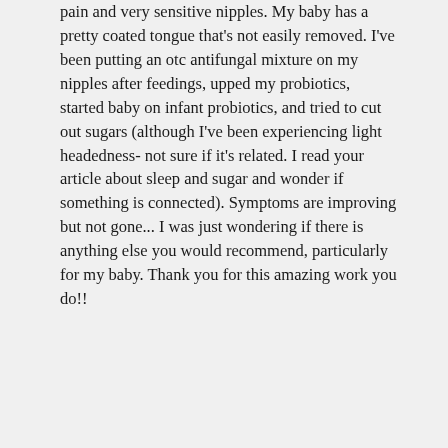pain and very sensitive nipples. My baby has a pretty coated tongue that's not easily removed. I've been putting an otc antifungal mixture on my nipples after feedings, upped my probiotics, started baby on infant probiotics, and tried to cut out sugars (although I've been experiencing light headedness- not sure if it's related. I read your article about sleep and sugar and wonder if something is connected). Symptoms are improving but not gone... I was just wondering if there is anything else you would recommend, particularly for my baby. Thank you for this amazing work you do!!